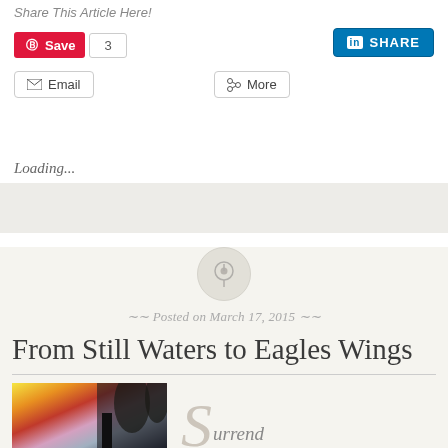Share This Article Here!
[Figure (screenshot): Social sharing buttons: Pinterest Save with count 3, LinkedIn Share button, Email button, More button]
Loading...
[Figure (infographic): Pinterest-style pushpin circle icon]
Posted on March 17, 2015
From Still Waters to Eagles Wings
[Figure (photo): Colorful abstract photo with trees silhouette]
Surrend